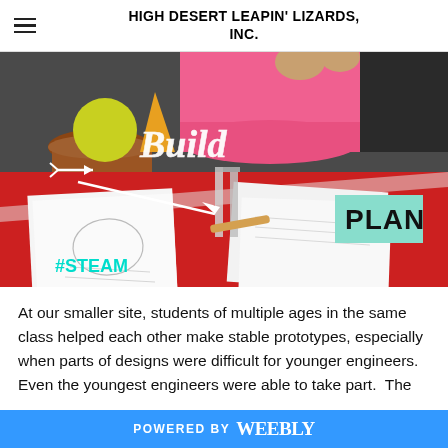HIGH DESERT LEAPIN' LIZARDS, INC.
[Figure (photo): Photo of a child in a pink dress working on a STEAM build activity at a red table with papers, prototypes, and building materials. Text overlaid: 'Build' in cursive with an arrow, 'PLAN' sign, and '#STEAM' in teal.]
At our smaller site, students of multiple ages in the same class helped each other make stable prototypes, especially when parts of designs were difficult for younger engineers. Even the youngest engineers were able to take part.  The
POWERED BY weebly